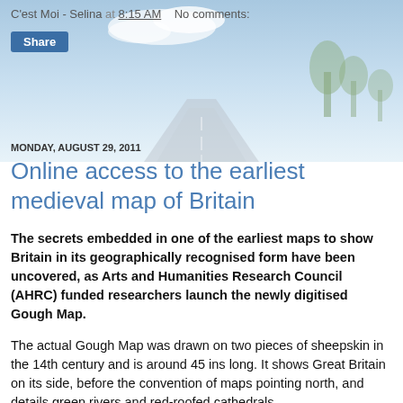C'est Moi - Selina at 8:15 AM   No comments:
[Figure (photo): Background photo of a road stretching into the distance under a light blue sky with clouds, trees on right side, style used as hero banner background]
Share
MONDAY, AUGUST 29, 2011
Online access to the earliest medieval map of Britain
The secrets embedded in one of the earliest maps to show Britain in its geographically recognised form have been uncovered, as Arts and Humanities Research Council (AHRC) funded researchers launch the newly digitised Gough Map.
The actual Gough Map was drawn on two pieces of sheepskin in the 14th century and is around 45 ins long. It shows Great Britain on its side, before the convention of maps pointing north, and details green rivers and red-roofed cathedrals.
The (Gough Map of Great Britain) is one of the most...